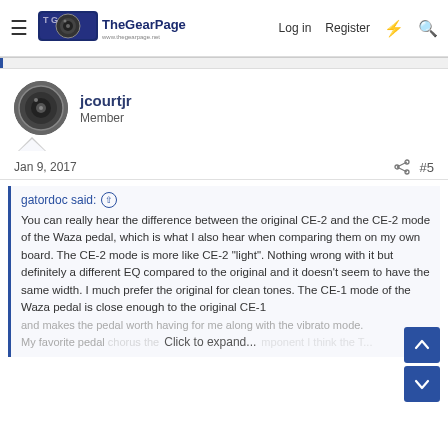The Gear Page — Log in  Register
jcourtjr
Member
Jan 9, 2017   #5
gatordoc said:
You can really hear the difference between the original CE-2 and the CE-2 mode of the Waza pedal, which is what I also hear when comparing them on my own board. The CE-2 mode is more like CE-2 "light". Nothing wrong with it but definitely a different EQ compared to the original and it doesn't seem to have the same width. I much prefer the original for clean tones. The CE-1 mode of the Waza pedal is close enough to the original CE-1 and makes the pedal worth having for me along with the vibrato mode.
Click to expand...